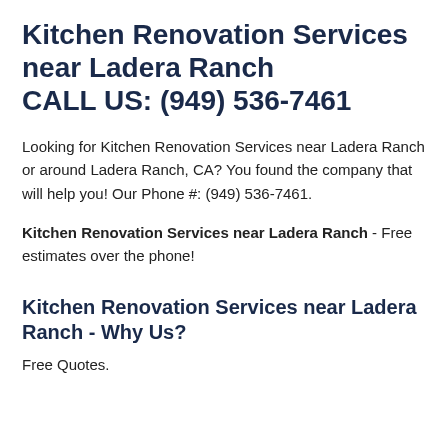Kitchen Renovation Services near Ladera Ranch CALL US: (949) 536-7461
Looking for Kitchen Renovation Services near Ladera Ranch or around Ladera Ranch, CA? You found the company that will help you! Our Phone #: (949) 536-7461.
Kitchen Renovation Services near Ladera Ranch - Free estimates over the phone!
Kitchen Renovation Services near Ladera Ranch - Why Us?
Free Quotes.